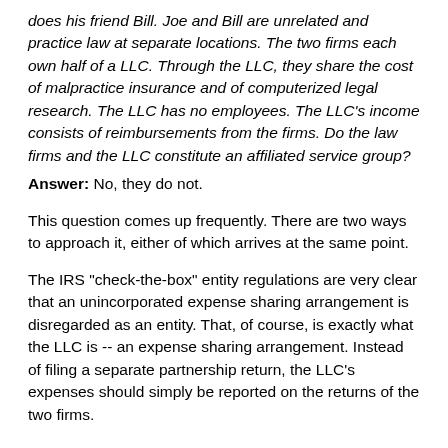does his friend Bill. Joe and Bill are unrelated and practice law at separate locations. The two firms each own half of a LLC. Through the LLC, they share the cost of malpractice insurance and of computerized legal research. The LLC has no employees. The LLC's income consists of reimbursements from the firms. Do the law firms and the LLC constitute an affiliated service group?
Answer: No, they do not.
This question comes up frequently. There are two ways to approach it, either of which arrives at the same point.
The IRS "check-the-box" entity regulations are very clear that an unincorporated expense sharing arrangement is disregarded as an entity. That, of course, is exactly what the LLC is -- an expense sharing arrangement. Instead of filing a separate partnership return, the LLC's expenses should simply be reported on the returns of the two firms.